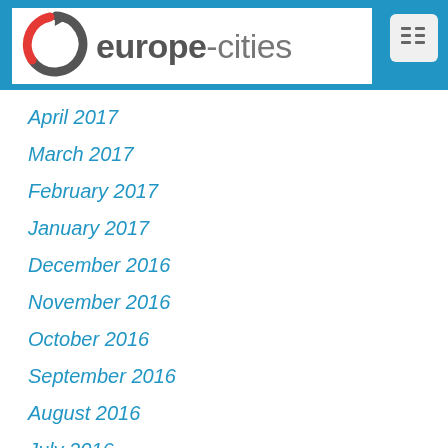[Figure (logo): europe-cities website logo with circular arrow icon in grey and red, text 'europe-cities' in grey]
April 2017
March 2017
February 2017
January 2017
December 2016
November 2016
October 2016
September 2016
August 2016
July 2016